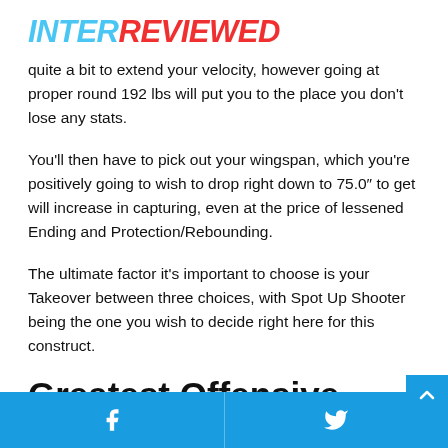INTERREVIEWED
quite a bit to extend your velocity, however going at proper round 192 lbs will put you to the place you don't lose any stats.
You'll then have to pick out your wingspan, which you're positively going to wish to drop right down to 75.0″ to get will increase in capturing, even at the price of lessened Ending and Protection/Rebounding.
The ultimate factor it's important to choose is your Takeover between three choices, with Spot Up Shooter being the one you wish to decide right here for this construct.
Greatest Offensive Menace